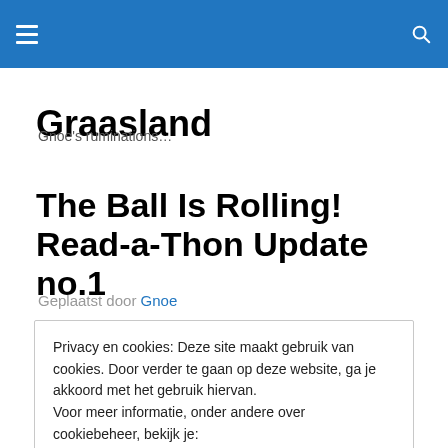Graasland — navigation header with hamburger menu and search icon
Graasland
Gnoe's ruminations…
The Ball Is Rolling! Read-a-Thon Update no.1
Geplaatst door Gnoe
Privacy en cookies: Deze site maakt gebruik van cookies. Door verder te gaan op deze website, ga je akkoord met het gebruik hiervan. Voor meer informatie, onder andere over cookiebeheer, bekijk je: Cookiebeleid
Sluiten en bevestigen